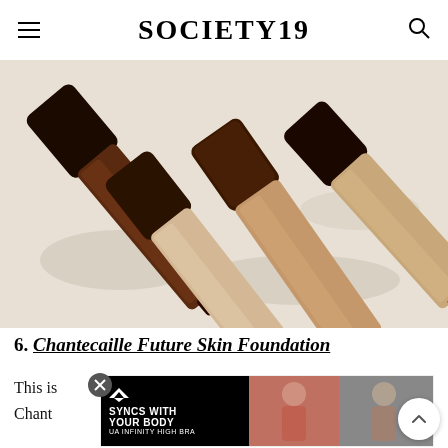SOCIETY19
[Figure (photo): Multiple foundation bottles in various shades from light beige to dark brown arranged diagonally on a white surface, with black caps. Chantecaille Future Skin Foundation bottles.]
6. Chantecaille Future Skin Foundation
This is ... Chant ... e for